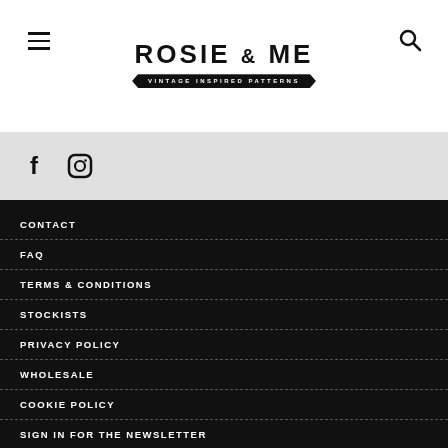ROSIE & ME — VINTAGE INSPIRED PATTERNS
[Figure (logo): Rosie & Me Vintage Inspired Patterns logo with banner]
CONTACT
FAQ
TERMS & CONDITIONS
STOCKISTS
PRIVACY POLICY
WHOLESALE
COOKIE POLICY
SIGN IN FOR THE NEWSLETTER